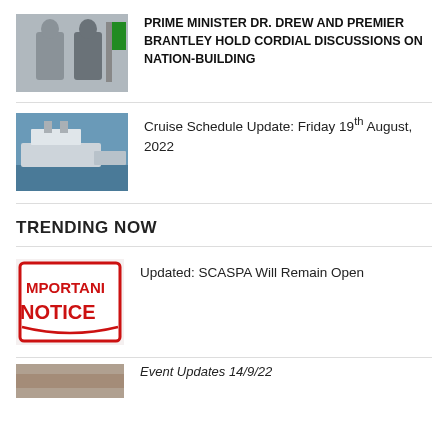[Figure (photo): Two men in formal attire standing in front of a flag]
PRIME MINISTER DR. DREW AND PREMIER BRANTLEY HOLD CORDIAL DISCUSSIONS ON NATION-BUILDING
[Figure (photo): Aerial view of cruise ships docked at a port]
Cruise Schedule Update: Friday 19th August, 2022
TRENDING NOW
[Figure (photo): Red and white Important Notice sign]
Updated: SCASPA Will Remain Open
[Figure (photo): Partial image at bottom of page]